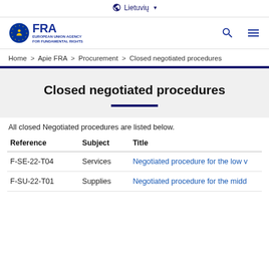🌐 Lietuvių ▾
[Figure (logo): FRA - European Union Agency for Fundamental Rights logo with EU stars circle emblem]
Home > Apie FRA > Procurement > Closed negotiated procedures
Closed negotiated procedures
All closed Negotiated procedures are listed below.
| Reference | Subject | Title |
| --- | --- | --- |
| F-SE-22-T04 | Services | Negotiated procedure for the low v… |
| F-SU-22-T01 | Supplies | Negotiated procedure for the midd… |